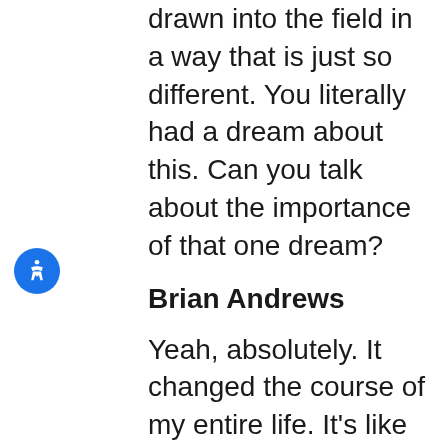drawn into the field in a way that is just so different. You literally had a dream about this. Can you talk about the importance of that one dream?
Brian Andrews
Yeah, absolutely. It changed the course of my entire life. It's like every other night, I went to bed, followed my routine and in my dream it was almost like I was in a waking dream. And in that dream, I seen this huge fire, the size of a community,